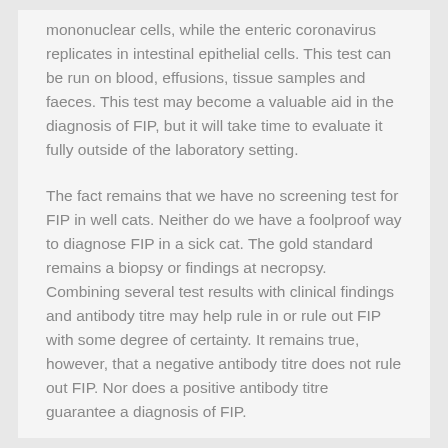mononuclear cells, while the enteric coronavirus replicates in intestinal epithelial cells. This test can be run on blood, effusions, tissue samples and faeces. This test may become a valuable aid in the diagnosis of FIP, but it will take time to evaluate it fully outside of the laboratory setting.
The fact remains that we have no screening test for FIP in well cats. Neither do we have a foolproof way to diagnose FIP in a sick cat. The gold standard remains a biopsy or findings at necropsy. Combining several test results with clinical findings and antibody titre may help rule in or rule out FIP with some degree of certainty. It remains true, however, that a negative antibody titre does not rule out FIP. Nor does a positive antibody titre guarantee a diagnosis of FIP.